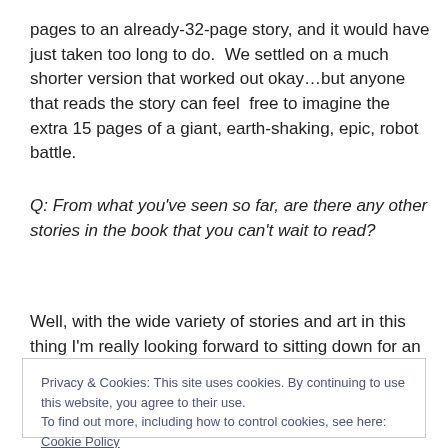pages to an already-32-page story, and it would have just taken too long to do.  We settled on a much shorter version that worked out okay…but anyone that reads the story can feel  free to imagine the extra 15 pages of a giant, earth-shaking, epic, robot battle.
Q: From what you've seen so far, are there any other stories in the book that you can't wait to read?
Well, with the wide variety of stories and art in this thing I'm really looking forward to sitting down for an afternoon
Privacy & Cookies: This site uses cookies. By continuing to use this website, you agree to their use.
To find out more, including how to control cookies, see here: Cookie Policy